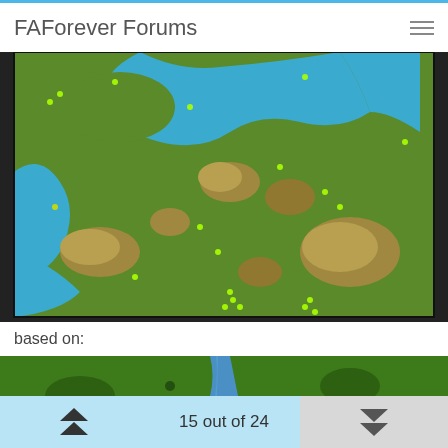FAForever Forums
[Figure (map): Top-down game map showing green terrain islands with tan/rocky mountain areas, blue water channels, and small green marker dots indicating resource or unit positions.]
based on:
[Figure (map): Second game map showing dense green forested terrain with a blue river running vertically through the center.]
15 out of 24